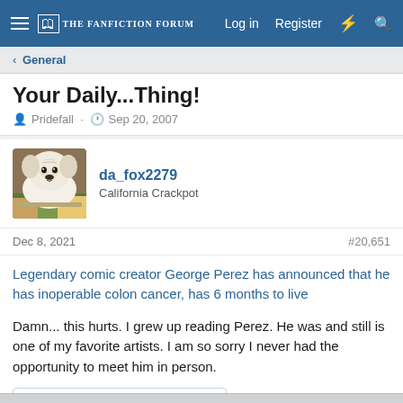THE FANFICTION FORUM | Log in | Register
< General
Your Daily...Thing!
Pridefall · Sep 20, 2007
[Figure (photo): Avatar photo of a small white dog (French Bulldog) resting its head on books]
da_fox2279
California Crackpot
Dec 8, 2021
#20,651
Legendary comic creator George Perez has announced that he has inoperable colon cancer, has 6 months to live
Damn... this hurts. I grew up reading Perez. He was and still is one of my favorite artists. I am so sorry I never had the opportunity to meet him in person.
Needs Improvement   1   Show all